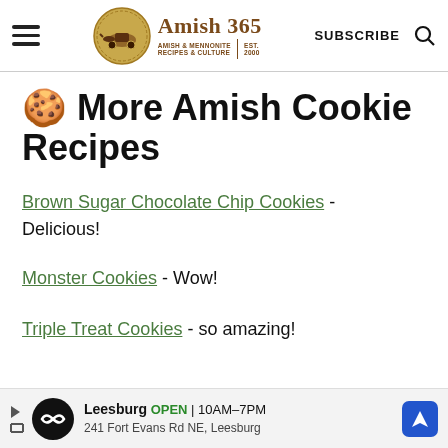Amish 365 — AMISH & MENNONITE RECIPES & CULTURE | EST. 2000 | SUBSCRIBE
🍪 More Amish Cookie Recipes
Brown Sugar Chocolate Chip Cookies - Delicious!
Monster Cookies - Wow!
Triple Treat Cookies - so amazing!
[Figure (other): Advertisement banner: Leesburg OPEN 10AM-7PM, 241 Fort Evans Rd NE, Leesburg]